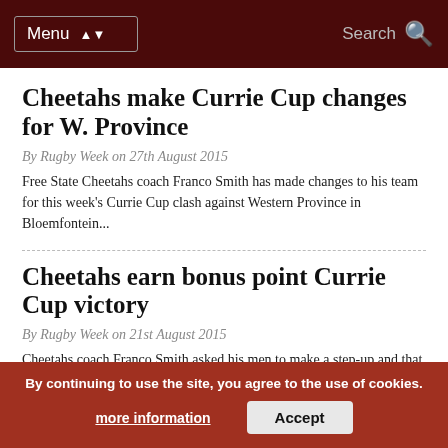Menu | Search
Cheetahs make Currie Cup changes for W. Province
By Rugby Week on 27th August 2015
Free State Cheetahs coach Franco Smith has made changes to his team for this week's Currie Cup clash against Western Province in Bloemfontein...
Cheetahs earn bonus point Currie Cup victory
By Rugby Week on 21st August 2015
Cheetahs coach Franco Smith asked his men to make a step-up and that is exactly what they did in their 31-9 Currie Cup...
Petersen to make Cheetahs debut
By Rugby Week on ...th August 2015
The Free State Cheetahs have named Sergeal Petersen to make his Currie Cup debut on the right wing against Griquas in Kimberley...
By continuing to use the site, you agree to the use of cookies. more information | Accept